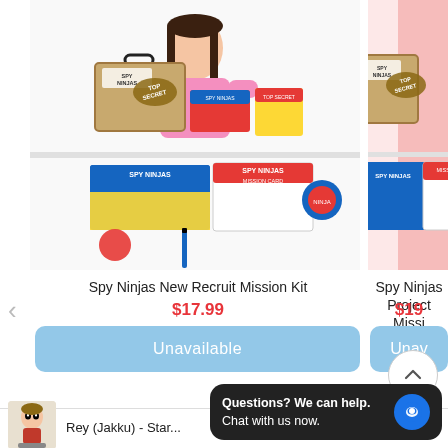[Figure (photo): Spy Ninjas New Recruit Mission Kit product photo showing a girl in pink shirt with a brown briefcase box labeled 'Spy Ninjas Top Secret' and various mission kit items spread out on a table including cards, badges, and accessories]
[Figure (photo): Spy Ninjas Project Mission Kit product photo showing a person in red shirt with the same brown 'Spy Ninjas Top Secret' briefcase and mission kit contents]
←
→
Spy Ninjas New Recruit Mission Kit
$17.99
Unavailable
Spy Ninjas Project Mission...
$19...
Unavailable
[Figure (photo): Scroll to top arrow button (chevron up) in circular border]
[Figure (screenshot): Chat widget with dark background saying 'Questions? We can help. Chat with us now.' with a blue chat icon on the right]
[Figure (photo): Thumbnail image of Rey (Jakku) Star Wars Funko Pop figure]
Rey (Jakku) - Star...